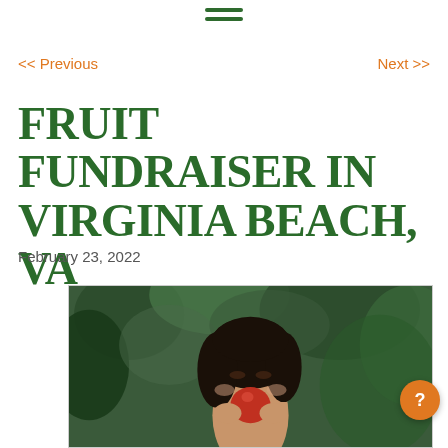≡ (hamburger menu icon)
<< Previous   Next >>
FRUIT FUNDRAISER IN VIRGINIA BEACH, VA
February 23, 2022
[Figure (photo): A young girl with dark hair smiling and holding a red apple up to her face, with green foliage in the background. Photo is displayed in a light-bordered frame.]